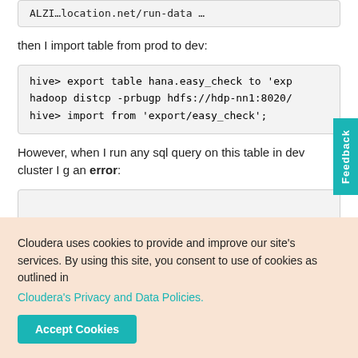[Figure (screenshot): Partial code box at top showing truncated hive/hadoop command]
then I import table from prod to dev:
[Figure (screenshot): Code box showing: hive> export table hana.easy_check to 'exp
hadoop distcp -prbugp hdfs://hdp-nn1:8020/
hive> import from 'export/easy_check';]
However, when I run any sql query on this table in dev cluster I g an error:
[Figure (screenshot): Partial code box at bottom (cut off)]
Cloudera uses cookies to provide and improve our site's services. By using this site, you consent to use of cookies as outlined in Cloudera's Privacy and Data Policies.
Accept Cookies